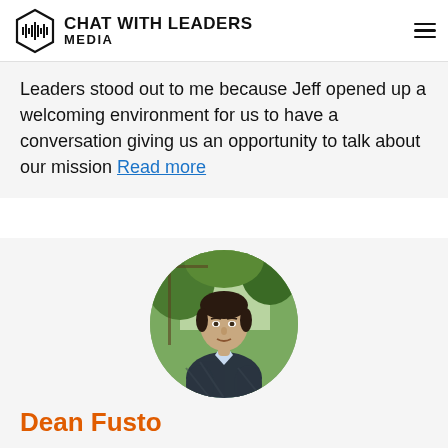Chat With Leaders Media
Leaders stood out to me because Jeff opened up a welcoming environment for us to have a conversation giving us an opportunity to talk about our mission Read more
[Figure (photo): Circular portrait photo of Dean Fusto, a man in a dark plaid blazer and light blue shirt, outdoors with greenery in background]
Dean Fusto